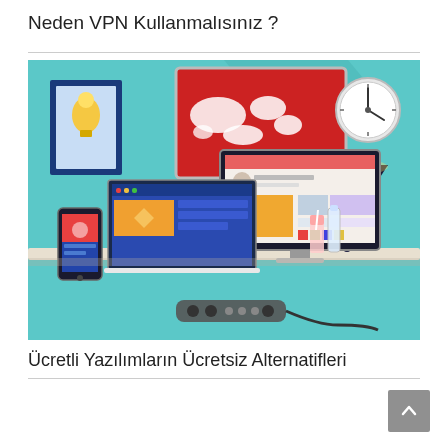Neden VPN Kullanmalısınız ?
[Figure (illustration): Flat design illustration of a workspace/desk setup with multiple devices: a desktop monitor showing a social media profile, a laptop, a smartphone, a world map poster on the wall in red and white, a wall clock, a desk lamp, drinks, and a power strip on the floor. Teal/cyan background color.]
Ücretli Yazılımların Ücretsiz Alternatifleri